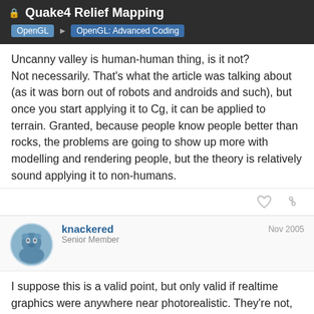Quake4 Relief Mapping | OpenGL > OpenGL: Advanced Coding
Uncanny valley is human-human thing, is it not? Not necessarily. That's what the article was talking about (as it was born out of robots and androids and such), but once you start applying it to Cg, it can be applied to terrain. Granted, because people know people better than rocks, the problems are going to show up more with modelling and rendering people, but the theory is relatively sound applying it to non-humans.
knackered
Senior Member
Nov 2005
I suppose this is a valid point, but only valid if realtime graphics were anywhere near photorealistic. They're not, they're all full of artefacts, whether it's hard edged shadows from shadow maps, environment mapping
18 / 27